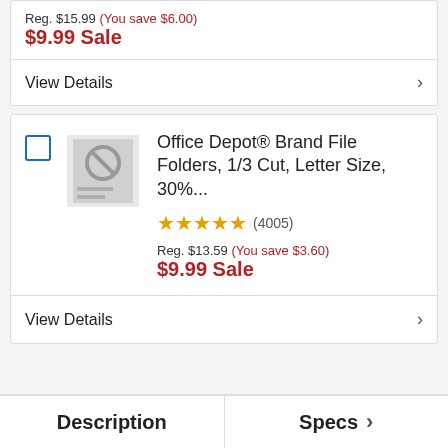Reg. $15.99 (You save $6.00) $9.99 Sale
View Details
Office Depot® Brand File Folders, 1/3 Cut, Letter Size, 30%...
★★★★★ (4005)
Reg. $13.59 (You save $3.60) $9.99 Sale
View Details
Description
Specs